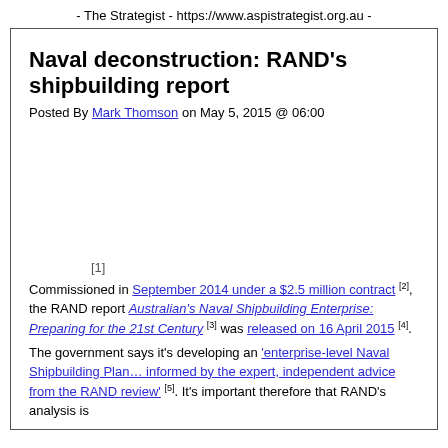- The Strategist - https://www.aspistrategist.org.au -
Naval deconstruction: RAND’s shipbuilding report
Posted By Mark Thomson on May 5, 2015 @ 06:00
[Figure (photo): Image placeholder area (article image)]
[1]
Commissioned in September 2014 under a $2.5 million contract [2], the RAND report Australian’s Naval Shipbuilding Enterprise: Preparing for the 21st Century [3] was released on 16 April 2015 [4].
The government says it’s developing an ‘enterprise-level Naval Shipbuilding Plan… informed by the expert, independent advice from the RAND review’ [5]. It’s important therefore that RAND’s analysis is